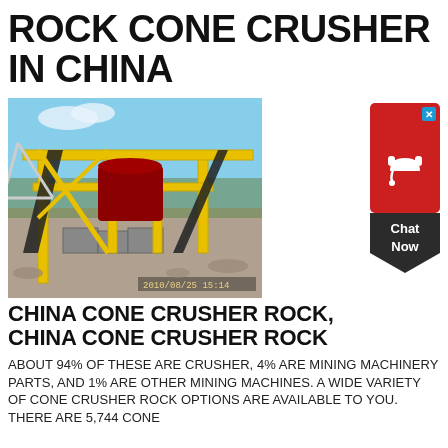ROCK CONE CRUSHER IN CHINA
[Figure (photo): Photograph of a yellow rock cone crusher machine at a quarry/construction site, with conveyor belts and industrial equipment. Timestamp reads 2010/08/25 15:14.]
[Figure (other): Chat Now widget with red background, headset icon, and dark arrow-shaped bottom with 'Chat Now' text.]
CHINA CONE CRUSHER ROCK, CHINA CONE CRUSHER ROCK
ABOUT 94% OF THESE ARE CRUSHER, 4% ARE MINING MACHINERY PARTS, AND 1% ARE OTHER MINING MACHINES. A WIDE VARIETY OF CONE CRUSHER ROCK OPTIONS ARE AVAILABLE TO YOU. THERE ARE 5,744 CONE